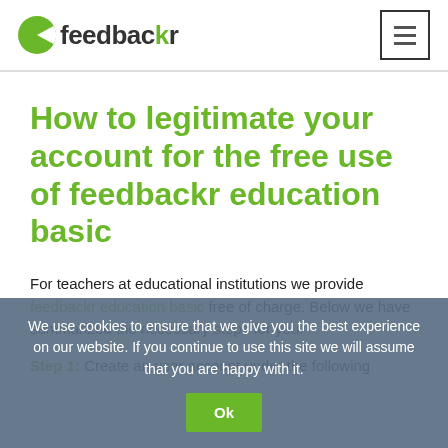feedbackr
How to legitimate your account for the free use of feedbackr education basic
For teachers at educational institutions we provide feedbackr education basic free of charge. Below we have summarized the necessary steps for you.
Step 1: Create an user account under the following
We use cookies to ensure that we give you the best experience on our website. If you continue to use this site we will assume that you are happy with it.